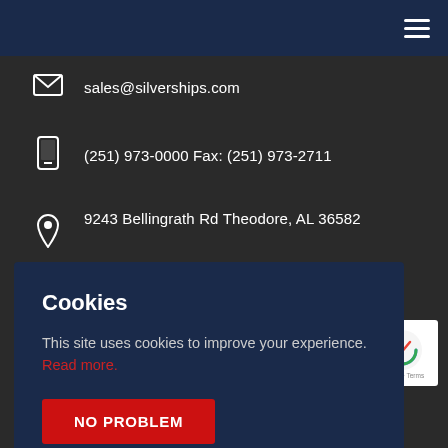Navigation bar with hamburger menu
sales@silverships.com
(251) 973-0000 Fax: (251) 973-2711
9243 Bellingrath Rd Theodore, AL 36582
590
Cookies
This site uses cookies to improve your experience. Read more.
NO PROBLEM
[Figure (other): reCAPTCHA badge with privacy and terms links]
English  Español  Français